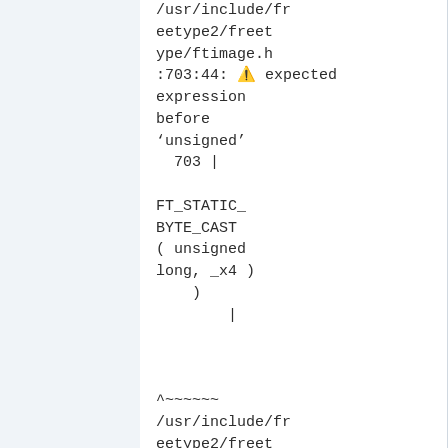/usr/include/freetype2/freetype/ftimage.h:703:44: error expected expression before 'unsigned'
  703 |

FT_STATIC_BYTE_CAST( unsigned long, _x4 )
    )
        |
^~~~~~~
/usr/include/freetype2/freetype/ftimage.h:747:5: note in expansion of